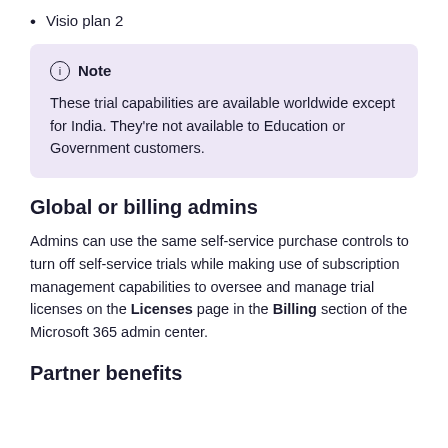Visio plan 2
Note
These trial capabilities are available worldwide except for India. They're not available to Education or Government customers.
Global or billing admins
Admins can use the same self-service purchase controls to turn off self-service trials while making use of subscription management capabilities to oversee and manage trial licenses on the Licenses page in the Billing section of the Microsoft 365 admin center.
Partner benefits